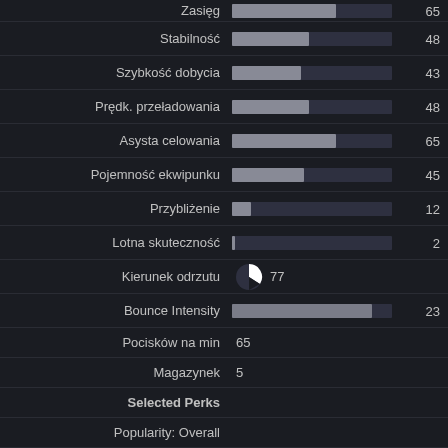[Figure (bar-chart): Weapon Stats]
Kierunek odrzutu 77
Pocisków na min 65
Magazynek 5
Selected Perks
Popularity: Overall
Popularity: Perks — Select 4 perks to see their popularity.
Popularity: Trait Combo
Popularity: MW Bonus — INACTIVE
Credits